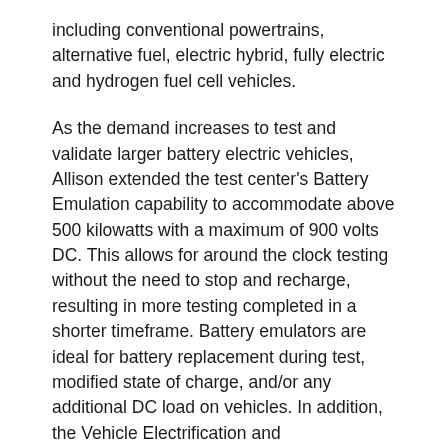including conventional powertrains, alternative fuel, electric hybrid, fully electric and hydrogen fuel cell vehicles.
As the demand increases to test and validate larger battery electric vehicles, Allison extended the test center's Battery Emulation capability to accommodate above 500 kilowatts with a maximum of 900 volts DC. This allows for around the clock testing without the need to stop and recharge, resulting in more testing completed in a shorter timeframe. Battery emulators are ideal for battery replacement during test, modified state of charge, and/or any additional DC load on vehicles. In addition, the Vehicle Electrification and Environmental Test Center offers commercial fast charging capabilities at 150 kilowatts, furthering development in preparation for tomorrow's fleets.
“Allison was proud to announce the expansion and